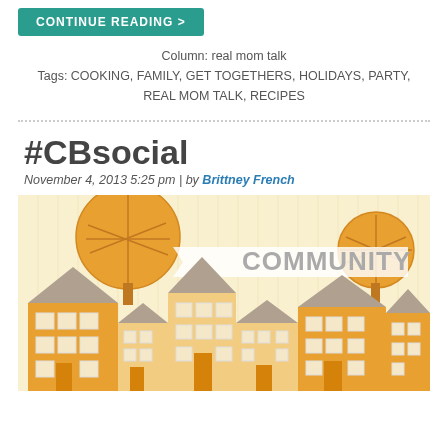CONTINUE READING >
Column: real mom talk
Tags: COOKING, FAMILY, GET TOGETHERS, HOLIDAYS, PARTY, REAL MOM TALK, RECIPES
#CBsocial
November 4, 2013 5:25 pm | by Brittney French
[Figure (illustration): Colorful community illustration with cartoon-style houses in orange/yellow tones with grey roofs, orange trees with leaf patterns, and the word COMMUNITY in large grey letters on a banner/ribbon shape. Light yellow striped background.]